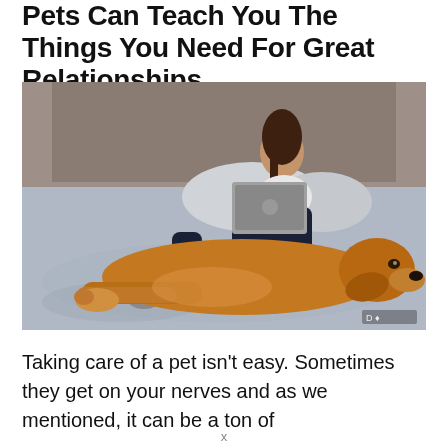Pets Can Teach You The Things You Need For Great Relationships
[Figure (photo): A woman sitting on a bed with a laptop computer, with a golden retriever dog lying in the foreground on the bed.]
Taking care of a pet isn't easy. Sometimes they get on your nerves and as we mentioned, it can be a ton of
x